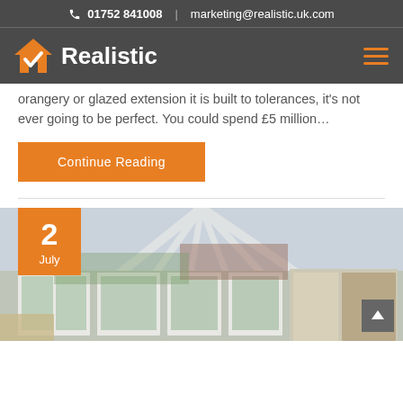📞 01752 841008  |  marketing@realistic.uk.com
[Figure (logo): Realistic logo with orange house checkmark icon and white 'Realistic' text on dark grey background, with orange hamburger menu icon on the right]
orangery or glazed extension it is built to tolerances, it's not ever going to be perfect. You could spend £5 million…
Continue Reading
[Figure (photo): Interior photograph of a white uPVC conservatory with glass roof and French doors, showing a view of a garden and brick house outside. An orange date badge shows '2 July' in the top left corner.]